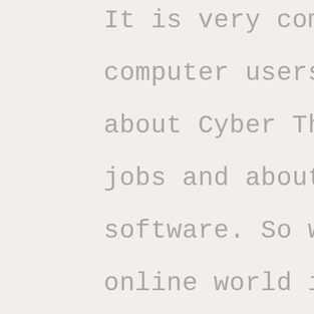It is very common with regards to computer users to ask concerns about Cyber Threat Analyst (CTA) jobs and about anti virus software. So why? First, the online world is constantly staying attacked by simply malware such as malware or viruses which might be created by simply hackers to wreak havoc and steal information. It really is these cybercriminals who hire people the same analysts to get on top of this difficulty and stop the strike on the pcs of Americans. Consequently , understanding how the virus functions will be significant in stopping these